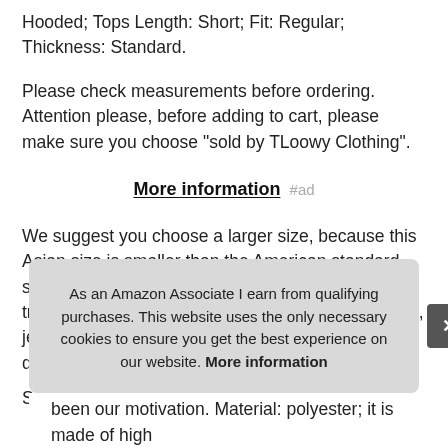Hooded; Tops Length: Short; Fit: Regular; Thickness: Standard.
Please check measurements before ordering. Attention please, before adding to cart, please make sure you choose "sold by TLoowy Clothing".
More information #ad
We suggest you choose a larger size, because this Asian size is smaller than the American standard size. Easy to pair with boots, skinny leggings for a trendy look in spring, street wear, working, vocation, jeans, autumn and winter. Please allow 1 inch/2cm difference due to hand measurement.
Suit
As an Amazon Associate I earn from qualifying purchases. This website uses the only necessary cookies to ensure you get the best experience on our website. More information
been our motivation. Material: polyester; it is made of high